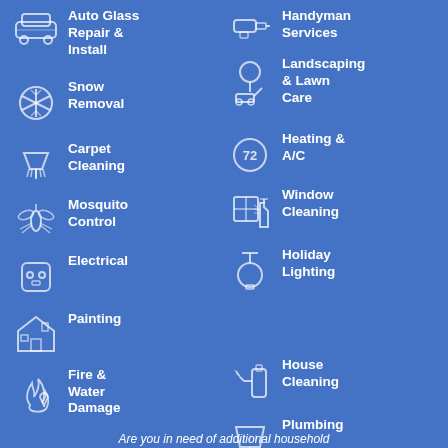Auto Glass Repair & Install
Handyman Services
Landscaping & Lawn Care
Snow Removal
Carpet Cleaning
Mosquito Control
Heating & A/C
Window Cleaning
Electrical
Holiday Lighting
Painting
Fire & Water Damage
House Cleaning
Plumbing
Are you in need of additional household